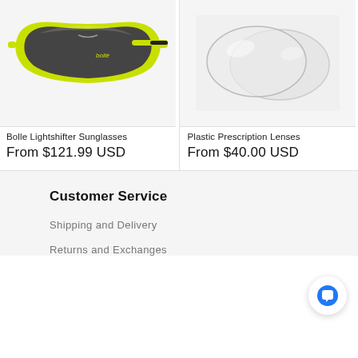[Figure (photo): Bollé Lightshifter sunglasses with neon yellow/green frame and dark smoke lens]
[Figure (photo): Clear plastic prescription lenses, two overlapping oval lens shapes on light background]
Bolle Lightshifter Sunglasses
From $121.99 USD
Plastic Prescription Lenses
From $40.00 USD
Customer Service
Shipping and Delivery
Returns and Exchanges